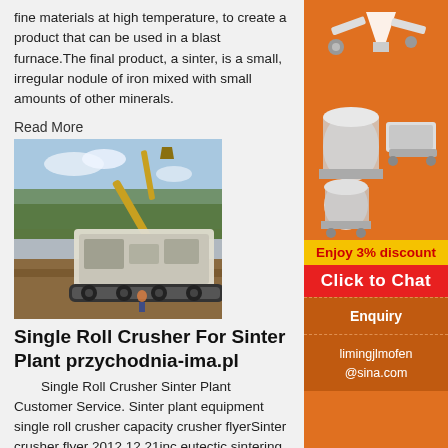fine materials at high temperature, to create a product that can be used in a blast furnace.The final product, a sinter, is a small, irregular nodule of iron mixed with small amounts of other minerals.
Read More
[Figure (photo): Large mining/crushing machine (excavator and crusher) operating outdoors on dirt terrain with trees in background]
Single Roll Crusher For Sinter Plant przychodnia-ima.pl
Single Roll Crusher Sinter Plant Customer Service. Sinter plant equipment single roll crusher capacity crusher flyerSinter crusher flyer 2012 12 21inc eutectic sintering equipment the uralmashplant key equipment supplier for basic industry drive machine crushers and other mechanisms with planetary spur and get ...
[Figure (infographic): Orange sidebar advertisement showing mining/crushing machine equipment illustrations, 'Enjoy 3% discount', 'Click to Chat' button, 'Enquiry', and email limingjlmofen@sina.com]